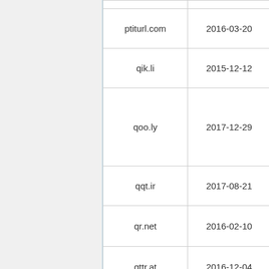| Domain | Date |
| --- | --- |
| ptiturl.com | 2016-03-20 |
| qik.li | 2015-12-12 |
| qoo.ly | 2017-12-29 |
| qqt.ir | 2017-08-21 |
| qr.net | 2016-02-10 |
| qttr.at | 2016-12-04 |